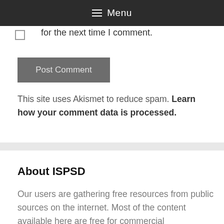≡ Menu
for the next time I comment.
[Figure (other): Post Comment button - grey rectangle button]
This site uses Akismet to reduce spam. Learn how your comment data is processed.
About ISPSD
Our users are gathering free resources from public sources on the internet. Most of the content available here are free for commercial